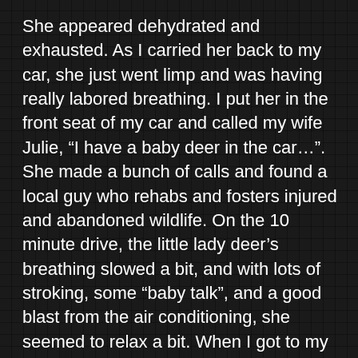She appeared dehydrated and exhausted. As I carried her back to my car, she just went limp and was having really labored breathing. I put her in the front seat of my car and called my wife Julie, “I have a baby deer in the car…”. She made a bunch of calls and found a local guy who rehabs and fosters injured and abandoned wildlife. On the 10 minute drive, the little lady deer’s breathing slowed a bit, and with lots of stroking, some “baby talk”, and a good blast from the air conditioning, she seemed to relax a bit. When I got to my wife’s work, her boss/my friend/Thrillhammers lead guitarist, Chris Chandler, jumped in his truck and said, “I’ll drive”.